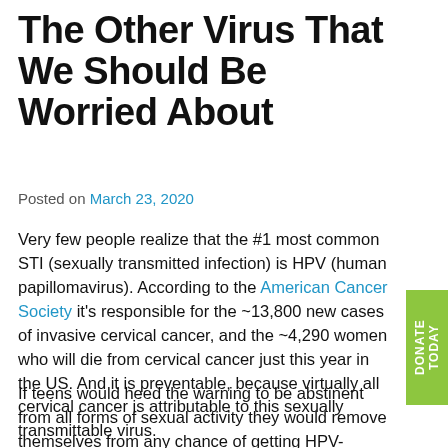The Other Virus That We Should Be Worried About
Posted on March 23, 2020
Very few people realize that the #1 most common STI (sexually transmitted infection) is HPV (human papillomavirus). According to the American Cancer Society it's responsible for the ~13,800 new cases of invasive cervical cancer, and the ~4,290 women who will die from cervical cancer just this year in the US. And it is preventable, because virtually all cervical cancer is attributable to this sexually transmittable virus.
If teens would heed the warning to be abstinent from all forms of sexual activity they would remove themselves from any chance of getting HPV-related cancers. If WE (the older generations) had been abstinent, we wouldn't be the